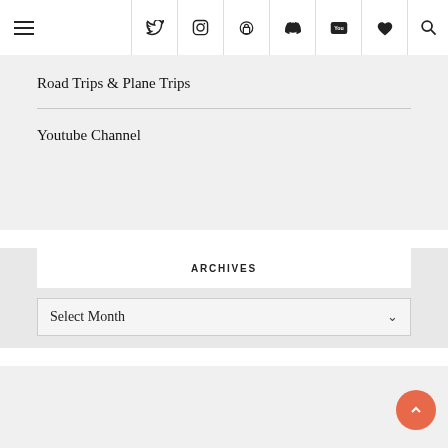Navigation bar with hamburger menu and social icons: Twitter, Instagram, Pinterest, Tumblr, YouTube, Heart, Search
Road Trips & Plane Trips
Youtube Channel
ARCHIVES
Select Month